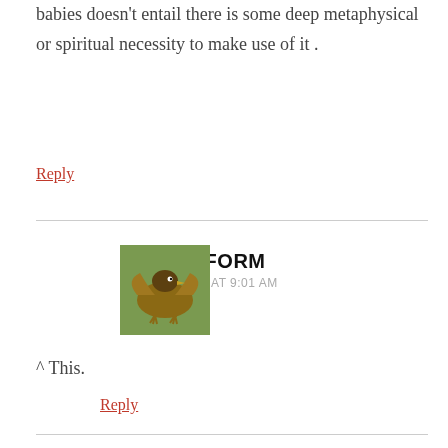babies doesn't entail there is some deep metaphysical or spiritual necessity to make use of it .
Reply
CSTRIGIFORM
JUNE 27, 2013 AT 9:01 AM
^ This.
Reply
AN
JUNE 27, 2013 AT 2:35 PM